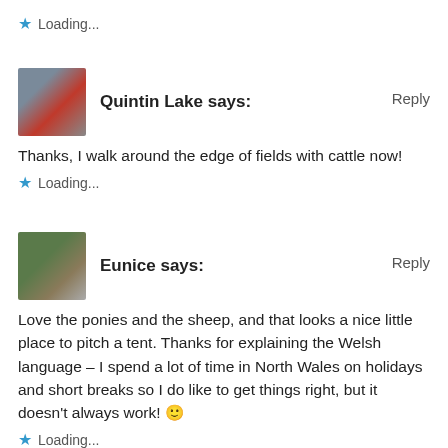Loading...
Quintin Lake says:
Reply
Thanks, I walk around the edge of fields with cattle now!
Loading...
Eunice says:
Reply
Love the ponies and the sheep, and that looks a nice little place to pitch a tent. Thanks for explaining the Welsh language – I spend a lot of time in North Wales on holidays and short breaks so I do like to get things right, but it doesn't always work! 🙂
Loading...